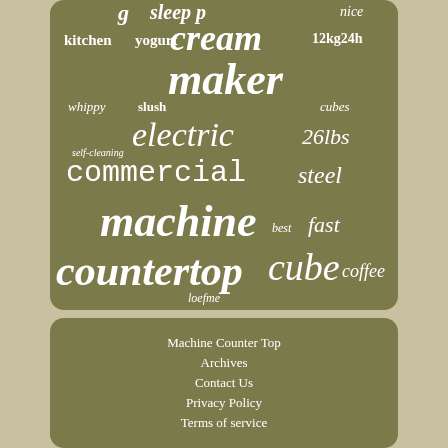[Figure (infographic): Word cloud on olive/khaki green rounded rectangle background. Words include: cream, 12kg24h, kitchen, yogurt, maker, whippy, slush, cubes, electric, 26lbs, self-cleaning, commercial, steel, machine, best, fast, countertop, cube, coffee, loefme. Larger words indicate higher frequency/importance.]
Machine Counter Top
Archives
Contact Us
Privacy Policy
Terms of service